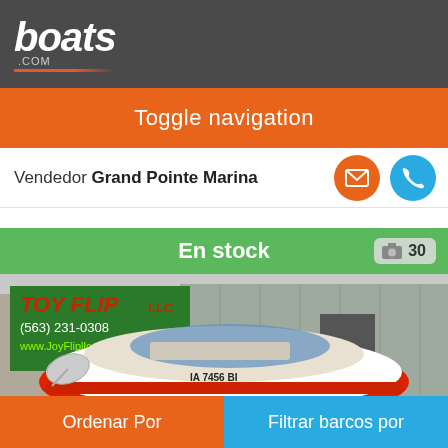boats.com
Toggle navigation
Vendedor Grand Pointe Marina
En stock  📷 30
[Figure (photo): Red and white Starcraft motorboat on a trailer parked in front of a metal building. A banner for Toy Flip LLC with phone number (563) 231-0308 and website www.JoyFlipllc.com is visible in the background. The boat registration reads IA 7456 BI.]
Ordenar Por
Filtrar barcos por